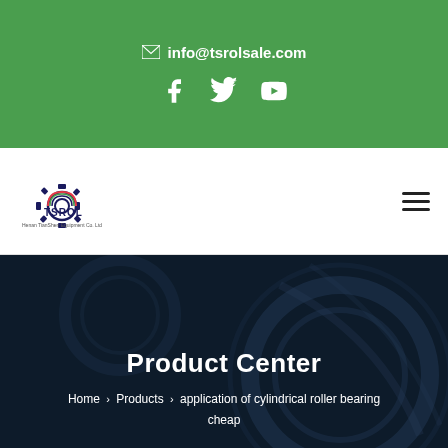info@tsrolsale.com
[Figure (logo): TSROL company logo with gear icon and text 'Henan TianShen Equipment Co. Ltd']
Product Center
Home > Products > application of cylindrical roller bearing cheap